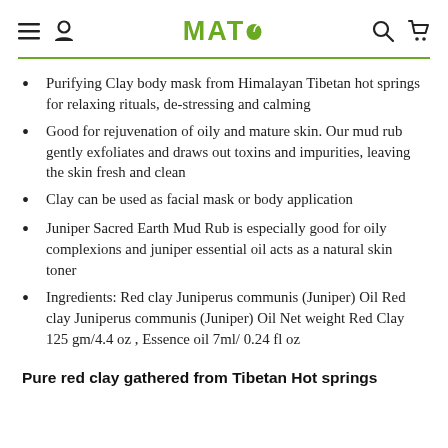MATO
Purifying Clay body mask from Himalayan Tibetan hot springs for relaxing rituals, de-stressing and calming
Good for rejuvenation of oily and mature skin. Our mud rub gently exfoliates and draws out toxins and impurities, leaving the skin fresh and clean
Clay can be used as facial mask or body application
Juniper Sacred Earth Mud Rub is especially good for oily complexions and juniper essential oil acts as a natural skin toner
Ingredients: Red clay Juniperus communis (Juniper) Oil Red clay Juniperus communis (Juniper) Oil Net weight Red Clay 125 gm/4.4 oz , Essence oil 7ml/ 0.24 fl oz
Pure red clay gathered from Tibetan Hot springs